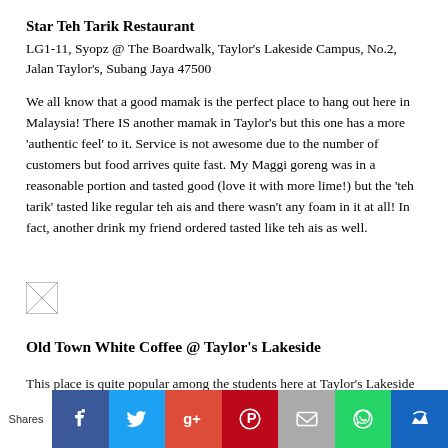Star Teh Tarik Restaurant
LG1-11, Syopz @ The Boardwalk, Taylor's Lakeside Campus, No.2, Jalan Taylor's, Subang Jaya 47500
We all know that a good mamak is the perfect place to hang out here in Malaysia! There IS another mamak in Taylor's but this one has a more 'authentic feel' to it. Service is not awesome due to the number of customers but food arrives quite fast. My Maggi goreng was in a reasonable portion and tasted good (love it with more lime!) but the 'teh tarik' tasted like regular teh ais and there wasn't any foam in it at all! In fact, another drink my friend ordered tasted like teh ais as well.
[Figure (photo): Broken/missing image placeholder]
Old Town White Coffee @ Taylor's Lakeside
This place is quite popular among the students here at Taylor's Lakeside
Shares | Facebook | Twitter | Google+ | Pinterest | Email | WhatsApp | Crown